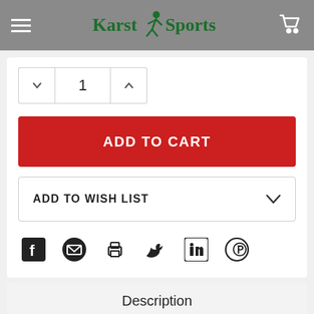Karst Sports
[Figure (screenshot): Quantity selector showing value 1 with up and down arrows]
[Figure (screenshot): ADD TO CART red button]
[Figure (screenshot): ADD TO WISH LIST dropdown button]
[Figure (screenshot): Social sharing icons: Facebook, Email, Print, Twitter, LinkedIn, Pinterest]
Description
Double pulley for travel along ropes